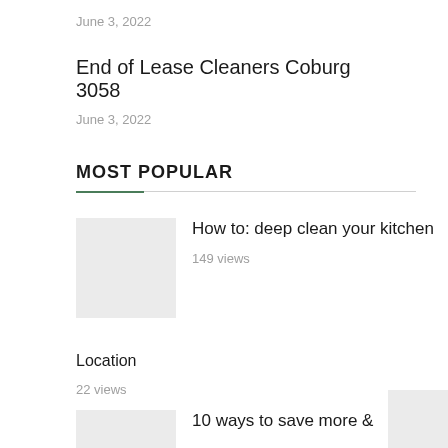June 3, 2022
End of Lease Cleaners Coburg 3058
June 3, 2022
MOST POPULAR
How to: deep clean your kitchen
149 views
Location
22 views
10 ways to save more &